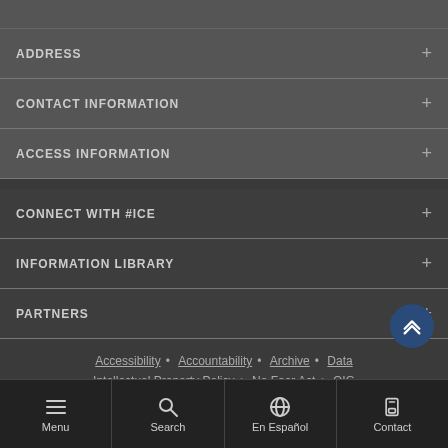ADDRESS
CONTACT INFORMATION
ACCESS INFORMATION
CONNECT WITH #ICE
INFORMATION LIBRARY
PARTNERS
Accessibility · Accountability · Archive · Data · Intellectual Property Policy · No Fear Act · OIG · Privacy Policy · Site Map · Site Policies & Plug-ins
Menu  Search  En Español  Contact